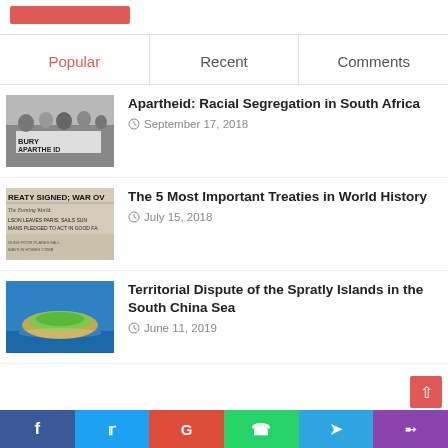[Figure (other): Red/salmon colored button at top left]
Popular | Recent | Comments
[Figure (photo): Black and white photo of people holding a banner reading BURY APARTHEID]
Apartheid: Racial Segregation in South Africa
September 17, 2018
[Figure (photo): Newspaper front page: TREATY SIGNED; WAR OV[ER]. The Evening World. Wilson Leaves Paris; Sails Sun[day]. Mans Pledged to Act in Good Fa[ith].]
The 5 Most Important Treaties in World History
July 15, 2018
[Figure (photo): Aerial photo of a small island in the South China Sea surrounded by blue water]
Territorial Dispute of the Spratly Islands in the South China Sea
June 11, 2019
f  t  G  (whatsapp)  (telegram)  (phone/rss)